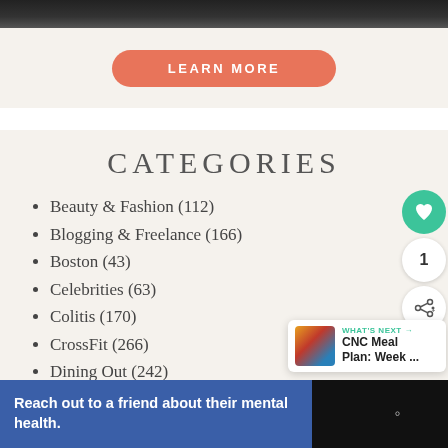[Figure (photo): Cropped top of a photo showing a person in a dark top, only bottom portion visible as a dark strip]
LEARN MORE
CATEGORIES
Beauty & Fashion (112)
Blogging & Freelance (166)
Boston (43)
Celebrities (63)
Colitis (170)
CrossFit (266)
Dining Out (242)
WHAT'S NEXT → CNC Meal Plan: Week ...
Reach out to a friend about their mental health.